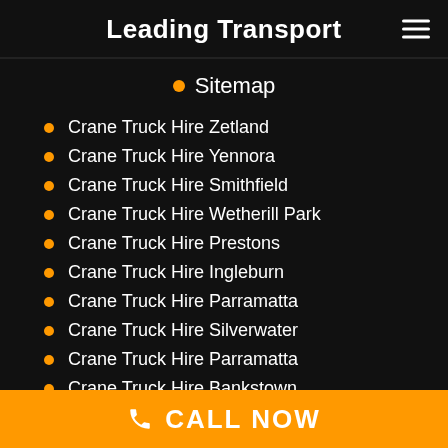Leading Transport
Sitemap
Crane Truck Hire Zetland
Crane Truck Hire Yennora
Crane Truck Hire Smithfield
Crane Truck Hire Wetherill Park
Crane Truck Hire Prestons
Crane Truck Hire Ingleburn
Crane Truck Hire Parramatta
Crane Truck Hire Silverwater
Crane Truck Hire Parramatta
Crane Truck Hire Bankstown
Crane Truck Hire Liverpool
CALL NOW